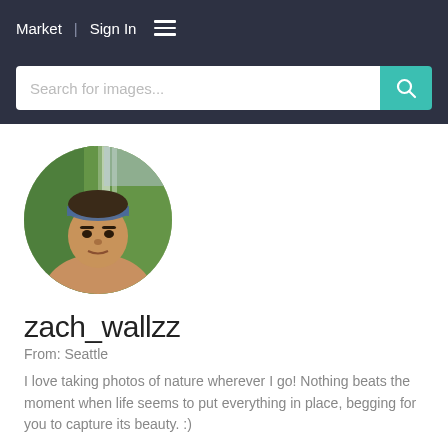Market | Sign In ≡
[Figure (screenshot): Search bar with placeholder text 'Search for images...' and a teal search button with magnifying glass icon]
[Figure (photo): Circular profile photo of a young man wearing a blue headband, standing in front of a waterfall surrounded by green trees]
zach_wallzz
From: Seattle
I love taking photos of nature wherever I go! Nothing beats the moment when life seems to put everything in place, begging for you to capture its beauty. :)
Market Photos
Mission photos